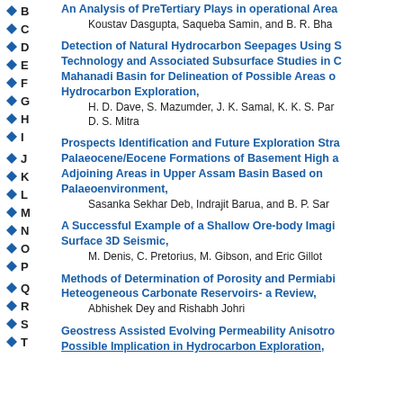B
C
D
E
F
G
H
I
J
K
L
M
N
O
P
Q
R
S
T
An Analysis of PreTertiary Plays in operational Area
Koustav Dasgupta, Saqueba Samin, and B. R. Bha
Detection of Natural Hydrocarbon Seepages Using S Technology and Associated Subsurface Studies in C Mahanadi Basin for Delineation of Possible Areas o Hydrocarbon Exploration,
H. D. Dave, S. Mazumder, J. K. Samal, K. K. S. Par D. S. Mitra
Prospects Identification and Future Exploration Stra Palaeocene/Eocene Formations of Basement High a Adjoining Areas in Upper Assam Basin Based on Palaeoenvironment,
Sasanka Sekhar Deb, Indrajit Barua, and B. P. Sar
A Successful Example of a Shallow Ore-body Imagi Surface 3D Seismic,
M. Denis, C. Pretorius, M. Gibson, and Eric Gillot
Methods of Determination of Porosity and Permiabi Heteogeneous Carbonate Reservoirs- a Review,
Abhishek Dey and Rishabh Johri
Geostress Assisted Evolving Permeability Anisotro Possible Implication in Hydrocarbon Exploration,